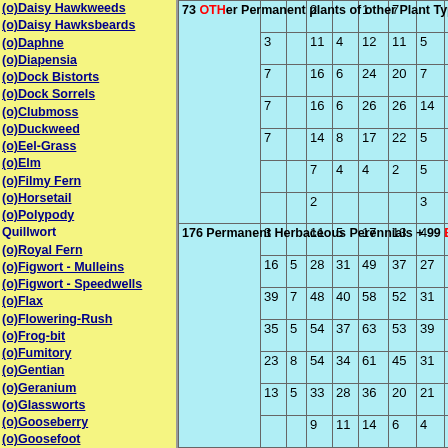(o)Daisy Hawkweeds, (o)Daisy Hawksbeards, (o)Daphne, (o)Diapensia, (o)Dock Bistorts, (o)Dock Sorrels, (o)Clubmoss, (o)Duckweed, (o)Eel-Grass, (o)Elm, (o)Filmy Fern, (o)Horsetail, (o)Polypody, Quillwort, (o)Royal Fern, (o)Figwort - Mulleins, (o)Figwort - Speedwells, (o)Flax, (o)Flowering-Rush, (o)Frog-bit, (o)Fumitory, (o)Gentian, (o)Geranium, (o)Glassworts, (o)Gooseberry, (o)Goosefoot, (o)Grass 1, (o)Grass 2, (o)Grass 3, (o)Grass Soft Bromes 1, (o)Grass Soft Bromes 2, (o)Grass Soft Bromes 3, (o)Hazel, (o)Heath, (o)Hemp, (o)Herb-Paris, (o)Holly
| Label | Col1 | Col2 | Col3 | Col4 | Col5 | Col6 | Col7 | Col8 |
| --- | --- | --- | --- | --- | --- | --- | --- | --- |
| 73 OTHer Permanent plants of other Plant Types |  |  | 2 |  | 1 | 7 |  |  |
|  | 3 |  | 11 | 4 | 12 | 11 | 5 | 2 |
|  | 7 |  | 16 | 6 | 24 | 20 | 7 | 5 |
|  | 7 |  | 16 | 6 | 26 | 26 | 14 | 9 |
|  | 7 |  | 14 | 8 | 17 | 22 | 5 | 6 |
|  |  |  | 7 | 4 | 4 | 2 | 5 | 1 |
|  |  |  | 2 |  |  |  | 3 |  |
| 176 Permanent Herbaceous Perennials + 99 BEDding + | 3 |  | 11 | 5 | 17 | 13 | 4 | 2 |
|  | 16 | 5 | 28 | 31 | 49 | 37 | 27 | 5 |
|  | 39 | 7 | 48 | 40 | 58 | 52 | 31 | 3 |
|  | 35 | 5 | 54 | 37 | 63 | 53 | 39 | 2 |
|  | 23 | 8 | 54 | 34 | 61 | 45 | 31 |  |
|  | 13 | 5 | 33 | 28 | 36 | 20 | 21 | 7 |
|  |  |  | 9 | 11 | 14 | 6 | 4 | 1 |